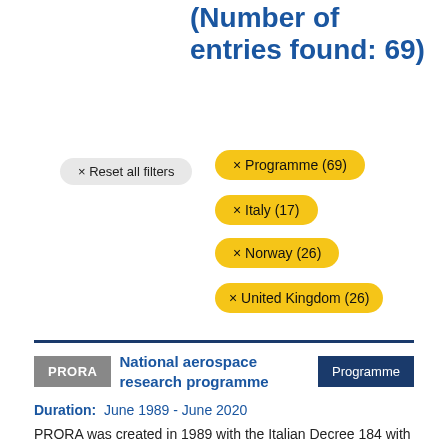Search results (Number of entries found: 69)
× Reset all filters
× Programme (69)
× Italy (17)
× Norway (26)
× United Kingdom (26)
PRORA  National aerospace research programme  Programme
Duration: June 1989 - June 2020
PRORA was created in 1989 with the Italian Decree 184 with the objective of stimulating the development of infrastructure and skills for research